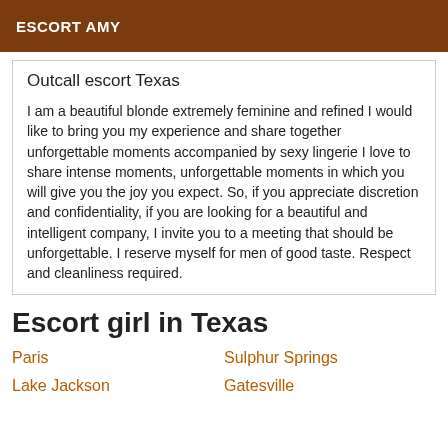ESCORT AMY
Outcall escort Texas
I am a beautiful blonde extremely feminine and refined I would like to bring you my experience and share together unforgettable moments accompanied by sexy lingerie I love to share intense moments, unforgettable moments in which you will give you the joy you expect. So, if you appreciate discretion and confidentiality, if you are looking for a beautiful and intelligent company, I invite you to a meeting that should be unforgettable. I reserve myself for men of good taste. Respect and cleanliness required.
Escort girl in Texas
Paris
Sulphur Springs
Lake Jackson
Gatesville